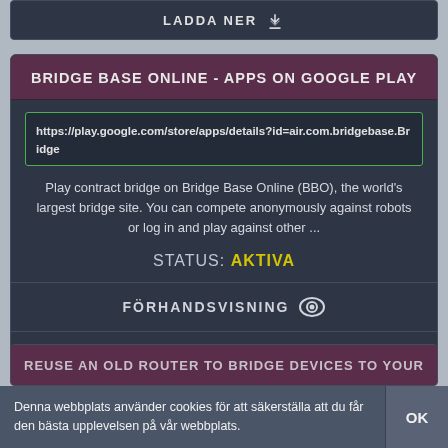LADDA NER
BRIDGE BASE ONLINE - APPS ON GOOGLE PLAY
https://play.google.com/store/apps/details?id=air.com.bridgebase.Bridge
Play contract bridge on Bridge Base Online (BBO), the world's largest bridge site. You can compete anonymously against robots or log in and play against other ...
STATUS: AKTIVA
FÖRHANDSVISNING
LADDA NER
REUSE AN OLD ROUTER TO BRIDGE DEVICES TO YOUR
Denna webbplats använder cookies för att säkerställa att du får den bästa upplevelsen på vår webbplats.
OK